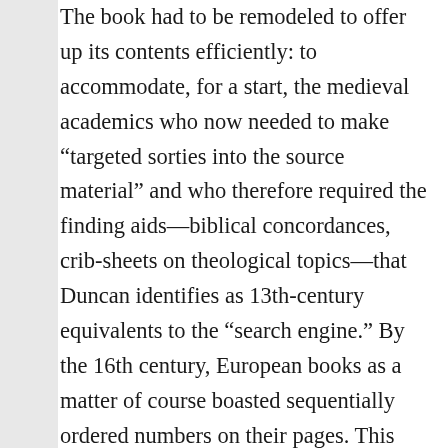The book had to be remodeled to offer up its contents efficiently: to accommodate, for a start, the medieval academics who now needed to make “targeted sorties into the source material” and who therefore required the finding aids—biblical concordances, crib-sheets on theological topics—that Duncan identifies as 13th-century equivalents to the “search engine.” By the 16th century, European books as a matter of course boasted sequentially ordered numbers on their pages. This numbering was intended not so much to streamline the reading experience as to facilitate the quick, targeted recall of the volumes’ contents after that experience